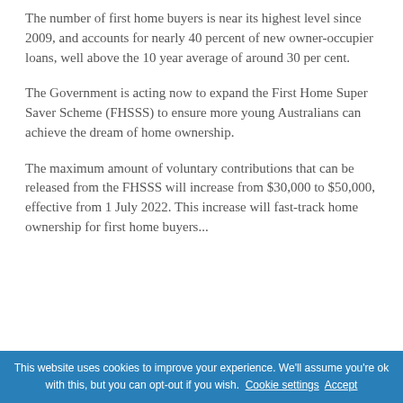The number of first home buyers is near its highest level since 2009, and accounts for nearly 40 percent of new owner-occupier loans, well above the 10 year average of around 30 per cent.
The Government is acting now to expand the First Home Super Saver Scheme (FHSSS) to ensure more young Australians can achieve the dream of home ownership.
The maximum amount of voluntary contributions that can be released from the FHSSS will increase from $30,000 to $50,000, effective from 1 July 2022. This increase will fast-track home ownership for first home buyers...
This website uses cookies to improve your experience. We'll assume you're ok with this, but you can opt-out if you wish. Cookie settings Accept